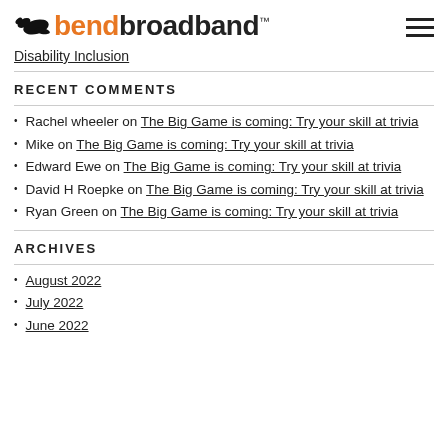bendbroadband™
Disability Inclusion
RECENT COMMENTS
Rachel wheeler on The Big Game is coming: Try your skill at trivia
Mike on The Big Game is coming: Try your skill at trivia
Edward Ewe on The Big Game is coming: Try your skill at trivia
David H Roepke on The Big Game is coming: Try your skill at trivia
Ryan Green on The Big Game is coming: Try your skill at trivia
ARCHIVES
August 2022
July 2022
June 2022